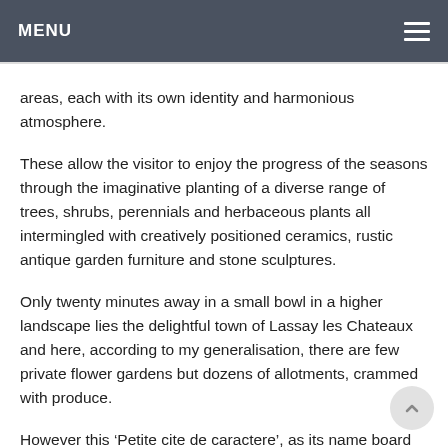MENU
areas, each with its own identity and harmonious atmosphere.
These allow the visitor to enjoy the progress of the seasons through the imaginative planting of a diverse range of trees, shrubs, perennials and herbaceous plants all intermingled with creatively positioned ceramics, rustic antique garden furniture and stone sculptures.
Only twenty minutes away in a small bowl in a higher landscape lies the delightful town of Lassay les Chateaux and here, according to my generalisation, there are few private flower gardens but dozens of allotments, crammed with produce.
However this ‘Petite cite de caractere’, as its name board proudly proclaims, is blessed with a magnificent public rose garden just below its friendly flower dressed square.